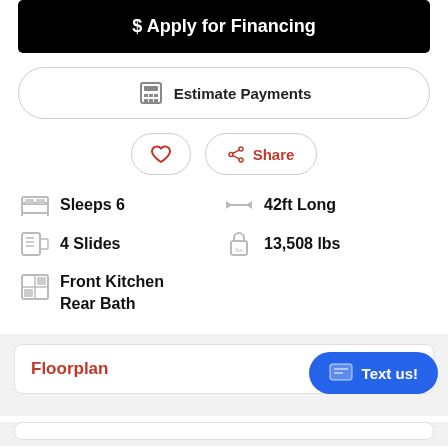$ Apply for Financing
Estimate Payments
Share
Sleeps 6
42ft Long
4 Slides
13,508 lbs
Front Kitchen Rear Bath
Floorplan
Text us!